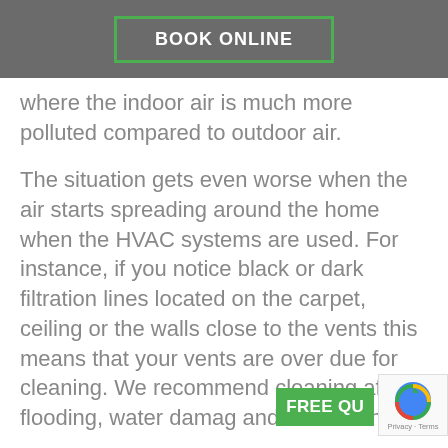BOOK ONLINE
where the indoor air is much more polluted compared to outdoor air.
The situation gets even worse when the air starts spreading around the home when the HVAC systems are used. For instance, if you notice black or dark filtration lines located on the carpet, ceiling or the walls close to the vents this means that your vents are over due for cleaning. We recommend cleaning after flooding, water damage and remodeling.